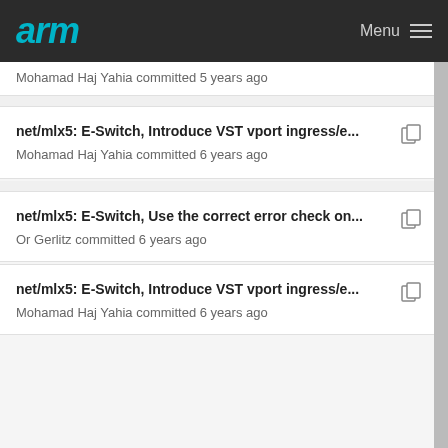arm Menu
Mohamad Haj Yahia committed 5 years ago
net/mlx5: E-Switch, Introduce VST vport ingress/e... — Mohamad Haj Yahia committed 6 years ago
net/mlx5: E-Switch, Use the correct error check on... — Or Gerlitz committed 6 years ago
net/mlx5: E-Switch, Introduce VST vport ingress/e... — Mohamad Haj Yahia committed 6 years ago